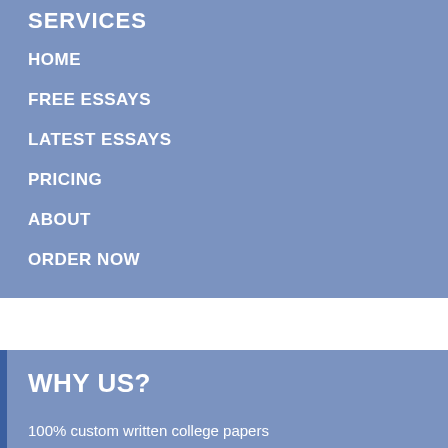SERVICES
HOME
FREE ESSAYS
LATEST ESSAYS
PRICING
ABOUT
ORDER NOW
WHY US?
100% custom written college papers
Any citation style available
Any subject, any difficulty
24/7 service available